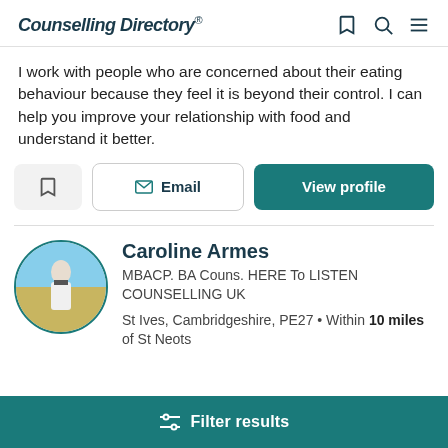Counselling Directory
I work with people who are concerned about their eating behaviour because they feel it is beyond their control. I can help you improve your relationship with food and understand it better.
Caroline Armes
MBACP. BA Couns. HERE To LISTEN COUNSELLING UK
St Ives, Cambridgeshire, PE27 • Within 10 miles of St Neots
Filter results